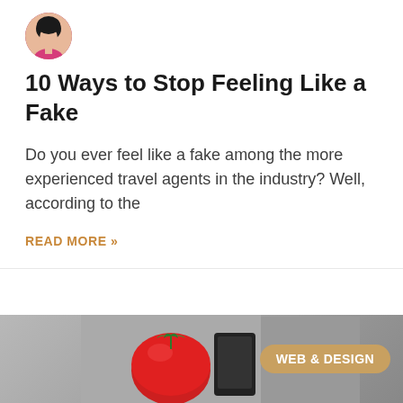[Figure (photo): Circular avatar photo of a woman with dark hair wearing a pink top]
10 Ways to Stop Feeling Like a Fake
Do you ever feel like a fake among the more experienced travel agents in the industry? Well, according to the
READ MORE »
August 21, 2019  •  No Comments
[Figure (photo): Photo of a red tomato next to what appears to be a black gadget or device, with a 'WEB & DESIGN' badge overlay]